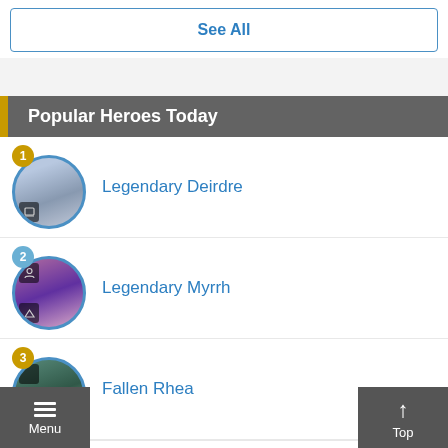See All
Popular Heroes Today
1 Legendary Deirdre
2 Legendary Myrrh
3 Fallen Rhea
4 (partial)
Menu
Top